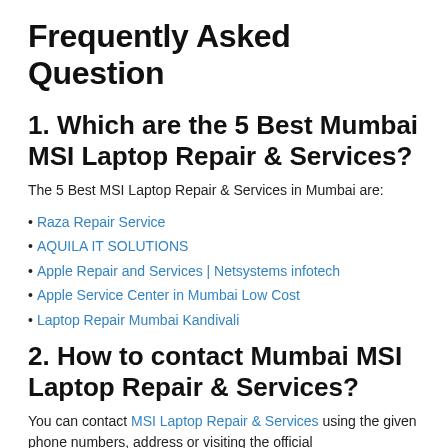Frequently Asked Question
1. Which are the 5 Best Mumbai MSI Laptop Repair & Services?
The 5 Best MSI Laptop Repair & Services in Mumbai are:
Raza Repair Service
AQUILA IT SOLUTIONS
Apple Repair and Services | Netsystems infotech
Apple Service Center in Mumbai Low Cost
Laptop Repair Mumbai Kandivali
2. How to contact Mumbai MSI Laptop Repair & Services?
You can contact MSI Laptop Repair & Services using the given phone numbers, address or visiting the official website.